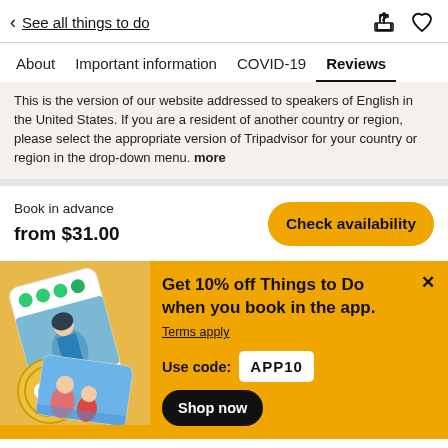< See all things to do
About   Important information   COVID-19   Reviews
This is the version of our website addressed to speakers of English in the United States. If you are a resident of another country or region, please select the appropriate version of Tripadvisor for your country or region in the drop-down menu. more
Book in advance
from $31.00
Check availability
[Figure (illustration): App promotion illustration showing Tripadvisor app with activity photos and medal icon]
Get 10% off Things to Do when you book in the app.
Terms apply
Use code: APP10
Shop now